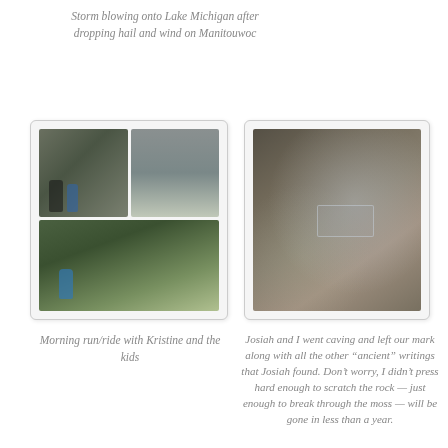Storm blowing onto Lake Michigan after dropping hail and wind on Manitouwoc
[Figure (photo): Collage of three photos: two people standing near water (top left), a calm water surface with reflections (top right), and a cyclist on a tree-lined path (bottom).]
[Figure (photo): Close-up photo of a dark rock surface with sparkly minerals and faint carved markings.]
Morning run/ride with Kristine and the kids
Josiah and I went caving and left our mark along with all the other “ancient” writings that Josiah found. Don’t worry, I didn’t press hard enough to scratch the rock — just enough to break through the moss — will be gone in less than a year.